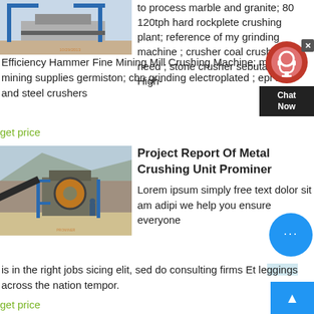[Figure (photo): Industrial crushing plant with blue crane structures on sandy ground, timestamped 10/29/2013]
to process marble and granite; 80 120tph hard rockplete crushing plant; reference of my grinding machine ; crusher coal crusher need ; stone crusher sebutan; High-Efficiency Hammer Fine Mining Mill Crushing Machine; melco mining supplies germiston; cbn grinding electroplated ; epi tre and steel crushers
get price
[Figure (photo): Large metal crushing unit with conveyor belt at a quarry or mine site, with machinery and blue scaffolding, watermark visible]
Project Report Of Metal Crushing Unit Prominer
Lorem ipsum simply free text dolor sit am adipi we help you ensure everyone is in the right jobs sicing elit, sed do consulting firms Et leggings across the nation tempor.
get price